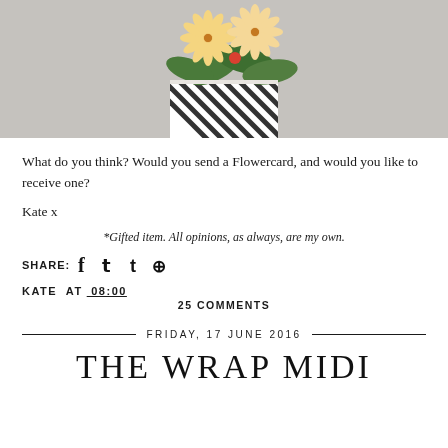[Figure (photo): Photo of flowers (gerberas) in a striped box/vase against a grey background, cropped at top of page]
What do you think? Would you send a Flowercard, and would you like to receive one?
Kate x
*Gifted item. All opinions, as always, are my own.
SHARE: [facebook] [twitter] [tumblr] [pinterest]
KATE AT 08:00
25 COMMENTS
FRIDAY, 17 JUNE 2016
THE WRAP MIDI